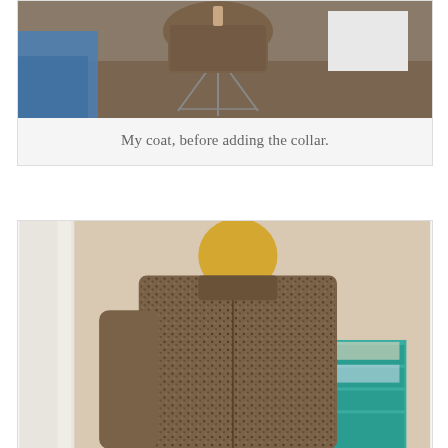[Figure (photo): Photo of a coat on a dress form/mannequin stand in a room, before collar is added. Blue plastic sheeting visible on left, brown carpet floor, white box in background.]
My coat, before adding the collar.
[Figure (photo): Photo of a patterned coat (brown/black speckled fabric) on a yellow mannequin head/dress form, showing the back and side view. A teal filing organizer with papers is visible in the background on the right. White wall/door trim on the left.]